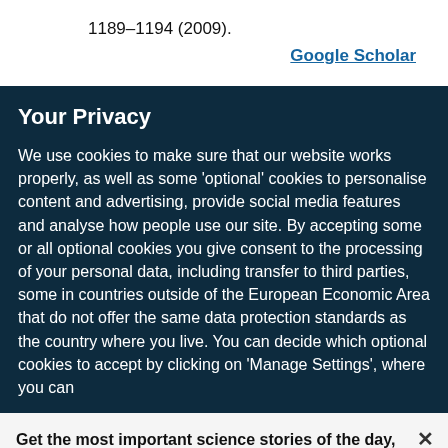1189–1194 (2009).
Google Scholar
Your Privacy
We use cookies to make sure that our website works properly, as well as some 'optional' cookies to personalise content and advertising, provide social media features and analyse how people use our site. By accepting some or all optional cookies you give consent to the processing of your personal data, including transfer to third parties, some in countries outside of the European Economic Area that do not offer the same data protection standards as the country where you live. You can decide which optional cookies to accept by clicking on 'Manage Settings', where you can
Get the most important science stories of the day, free in your inbox.
Sign up for Nature Briefing